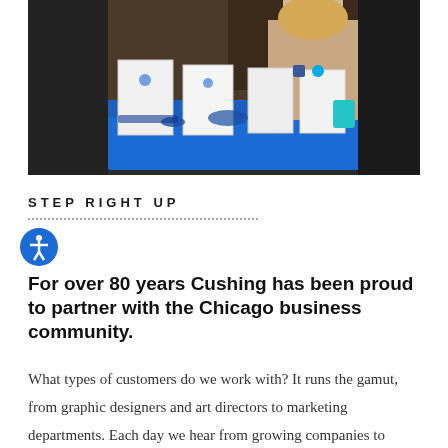[Figure (photo): People standing at a trade show or networking event booth with blue tablecloths, promotional materials, signs, and a woman reaching across the table. The background shows a dark banner with 'FOLLOW' text.]
STEP RIGHT UP
For over 80 years Cushing has been proud to partner with the Chicago business community.
What types of customers do we work with? It runs the gamut, from graphic designers and art directors to marketing departments. Each day we hear from growing companies to established brands. Your